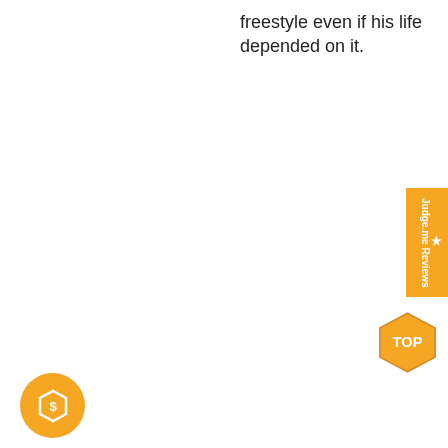freestyle even if his life depended on it.
NewBeeDrone.com
Track a Package
Downloads
About Us
Team Pilots
Shipping And Returns
Terms and Conditions
NewBeeLabs
[Figure (logo): Judge.me Reviews TOP badge on right side]
[Figure (logo): Shopify orange circle badge on bottom left]